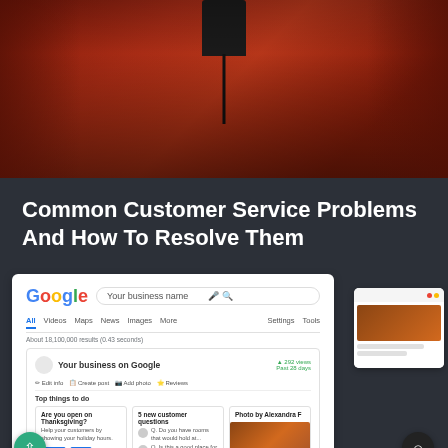[Figure (photo): Red telephone booth interior with mounted black phone and cord against red walls]
Common Customer Service Problems And How To Resolve Them
[Figure (screenshot): Google My Business dashboard screenshot showing a business profile page with search bar, action items like Edit info, Create post, Add photo, Reviews, and cards showing Top things to do including Thanksgiving hours question, 5 new customer questions, and Photo by Alexandra F. A tablet device is partially visible on the right side.]